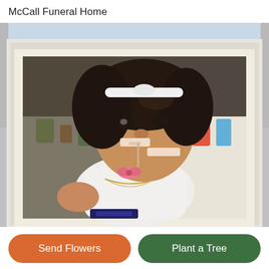McCall Funeral Home
[Figure (photo): A young infant/toddler with curly dark hair and a white headband, lying in a hospital or nursery setting on a colorful animal-print pillow/blanket. The child is wearing a white onesie with a pink bow and necklace and has medical nasal tubes (nasogastric tube) taped to her face. The photo is displayed in a cream/off-white picture frame. The background shows a nursery room with a pink crib and baby items on a shelf.]
Send Flowers
Plant a Tree